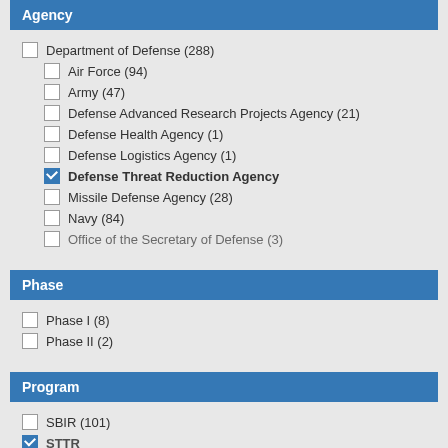Agency
Department of Defense (288)
Air Force (94)
Army (47)
Defense Advanced Research Projects Agency (21)
Defense Health Agency (1)
Defense Logistics Agency (1)
Defense Threat Reduction Agency [checked]
Missile Defense Agency (28)
Navy (84)
Office of the Secretary of Defense (3)
Phase
Phase I (8)
Phase II (2)
Program
SBIR (101)
STTR [checked, partially visible]